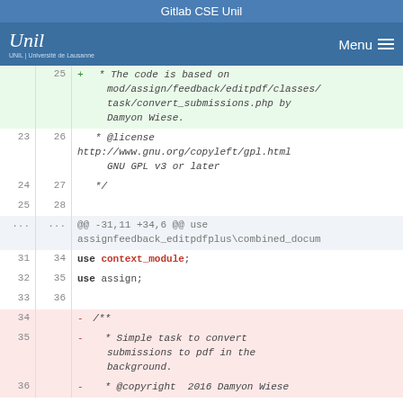Gitlab CSE Unil
[Figure (screenshot): University of Lausanne (UNIL) logo with nav bar showing Menu button]
Code diff view showing lines 25-36 with additions (green) and deletions (red). Line 25 add: + * The code is based on mod/assign/feedback/editpdf/classes/task/convert_submissions.php by Damyon Wiese. Lines 23-28 context with @license, http://www.gnu.org/copyleft/gpl.html GNU GPL v3 or later, */. Hunk header: @@ -31,11 +34,6 @@ use assignfeedback_editpdfplus\combined_docum. Lines 31-36: use context_module; use assign; then deleted block - /** - * Simple task to convert submissions to pdf in the background. - * @copyright 2016 Damyon Wiese